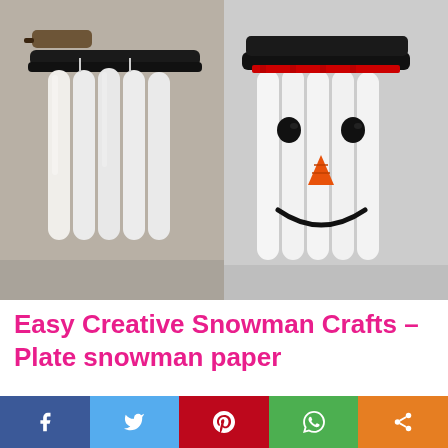[Figure (photo): Two-panel craft photo showing popsicle stick snowman: left panel shows white-painted sticks arranged with black top stick on a wall (in-progress), right panel shows completed snowman face with black hat, red ribbon, black eyes, orange carrot nose, and black smile on white painted popsicle sticks arranged vertically.]
Easy Creative Snowman Crafts – Plate snowman paper
Facebook Twitter Pinterest WhatsApp Share social bar